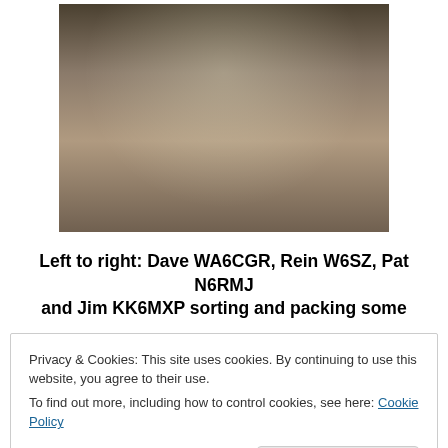[Figure (photo): Indoor workshop photo showing four men around a workbench cluttered with electronics, tools, and papers. An Acer monitor is visible on the left. Shelving units with parts line the background.]
Left to right: Dave WA6CGR, Rein W6SZ, Pat N6RMJ and Jim KK6MXP sorting and packing some
Privacy & Cookies: This site uses cookies. By continuing to use this website, you agree to their use.
To find out more, including how to control cookies, see here: Cookie Policy